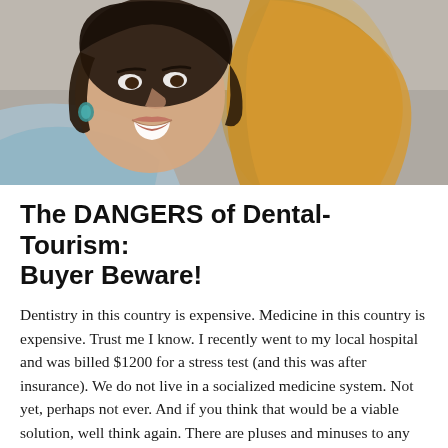[Figure (photo): A smiling young woman with dark hair reclining in a dental chair, wearing a light blue top, with a yellow/gold dental chair headrest visible behind her head]
The DANGERS of Dental-Tourism: Buyer Beware!
Dentistry in this country is expensive. Medicine in this country is expensive. Trust me I know. I recently went to my local hospital and was billed $1200 for a stress test (and this was after insurance). We do not live in a socialized medicine system. Not yet, perhaps not ever. And if you think that would be a viable solution, well think again. There are pluses and minuses to any system when it comes to individual